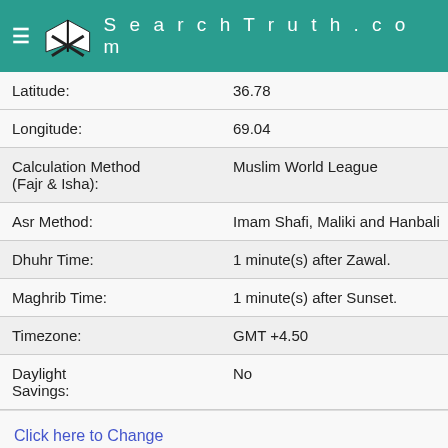SearchTruth.com
| Latitude: | 36.78 |
| Longitude: | 69.04 |
| Calculation Method (Fajr & Isha): | Muslim World League |
| Asr Method: | Imam Shafi, Maliki and Hanbali |
| Dhuhr Time: | 1 minute(s) after Zawal. |
| Maghrib Time: | 1 minute(s) after Sunset. |
| Timezone: | GMT +4.50 |
| Daylight Savings: | No |
Click here to Change